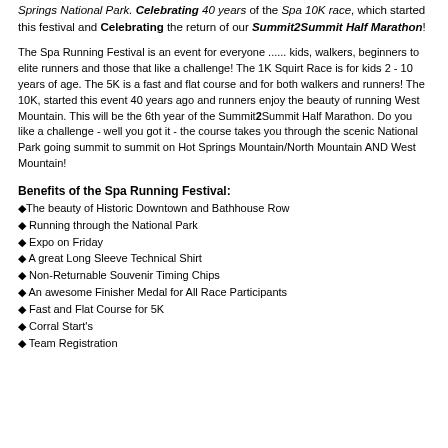Springs National Park. Celebrating 40 years of the Spa 10K race, which started this festival and Celebrating the return of our Summit2Summit Half Marathon!
The Spa Running Festival is an event for everyone ...... kids, walkers, beginners to elite runners and those that like a challenge! The 1K Squirt Race is for kids 2 - 10 years of age. The 5K is a fast and flat course and for both walkers and runners! The 10K, started this event 40 years ago and runners enjoy the beauty of running West Mountain. This will be the 6th year of the Summit2Summit Half Marathon. Do you like a challenge - well you got it - the course takes you through the scenic National Park going summit to summit on Hot Springs Mountain/North Mountain AND West Mountain!
Benefits of the Spa Running Festival:
The beauty of Historic Downtown and Bathhouse Row
Running through the National Park
Expo on Friday
A great Long Sleeve Technical Shirt
Non-Returnable Souvenir Timing Chips
An awesome Finisher Medal for All Race Participants
Fast and Flat Course for 5K
Corral Start's
Team Registration